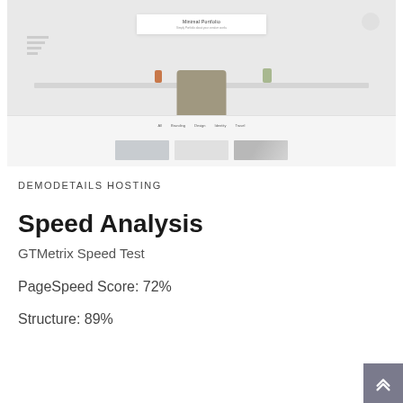[Figure (screenshot): Screenshot of a minimal portfolio website showing a desk/workspace hero image, navigation bar with links (All, Branding, Design, Identity, Travel), and three thumbnail images below the navigation.]
DEMODETAILS HOSTING
Speed Analysis
GTMetrix Speed Test
PageSpeed Score: 72%
Structure: 89%